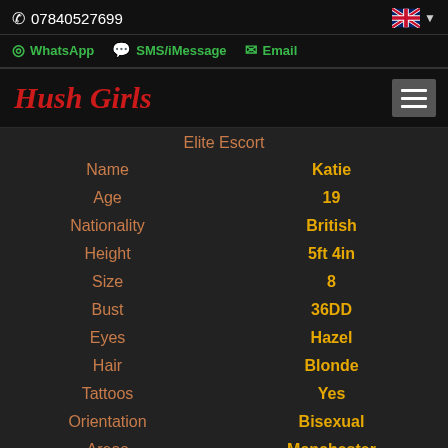07840527699
WhatsApp   SMS/iMessage   Email
Hush Girls
Elite Escort
| Field | Value |
| --- | --- |
| Name | Katie |
| Age | 19 |
| Nationality | British |
| Height | 5ft 4in |
| Size | 8 |
| Bust | 36DD |
| Eyes | Hazel |
| Hair | Blonde |
| Tattoos | Yes |
| Orientation | Bisexual |
| Areas | Manchester |
| Languages | English |